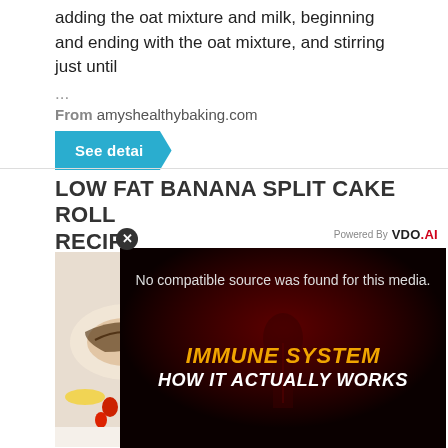adding the oat mixture and milk, beginning and ending with the oat mixture, and stirring just until
...
From amyshealthybaking.com
See detai
LOW FAT BANANA SPLIT CAKE ROLL RECIPE
[Figure (screenshot): Video player overlay with close button (x), 'Powered By VDO.AI' branding bar, black video area showing 'No compatible source was found for this media.' error text, and promotional graphic for 'IMMUNE SYSTEM HOW IT ACTUALLY WORKS' with yellow and white bold italic text on dark red background.]
[Figure (photo): Partial view of a cake roll with strawberries on a white surface.]